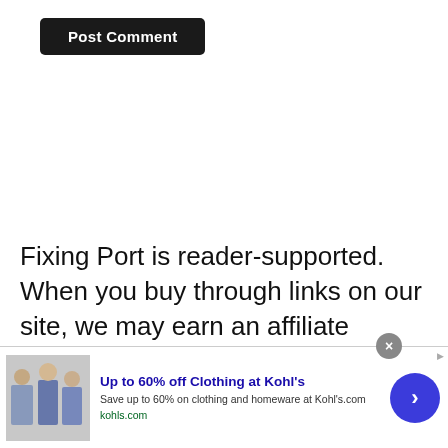[Figure (screenshot): Black 'Post Comment' button on a white background, rounded corners]
Fixing Port is reader-supported. When you buy through links on our site, we may earn an affiliate
[Figure (screenshot): Advertisement banner: 'Up to 60% off Clothing at Kohl's' with image of people, kohls.com URL, close button, and blue arrow navigation button]